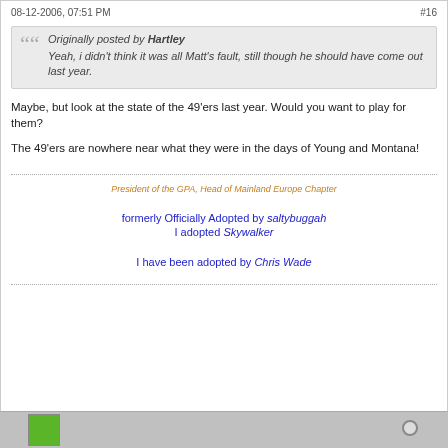08-12-2006, 07:51 PM   #16
Originally posted by Hartley
Yeah, i didn't think it was all Matt's fault, still though he should have come out last year.
Maybe, but look at the state of the 49'ers last year. Would you want to play for them?
The 49'ers are nowhere near what they were in the days of Young and Montana!
President of the GPA, Head of Mainland Europe Chapter
formerly Officially Adopted by saltybuggah
I adopted Skywalker
I have been adopted by Chris Wade